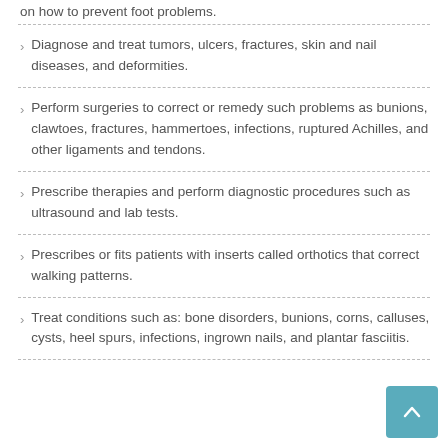Diagnose and treat tumors, ulcers, fractures, skin and nail diseases, and deformities.
Perform surgeries to correct or remedy such problems as bunions, clawtoes, fractures, hammertoes, infections, ruptured Achilles, and other ligaments and tendons.
Prescribe therapies and perform diagnostic procedures such as ultrasound and lab tests.
Prescribes or fits patients with inserts called orthotics that correct walking patterns.
Treat conditions such as: bone disorders, bunions, corns, calluses, cysts, heel spurs, infections, ingrown nails, and plantar fasciitis.